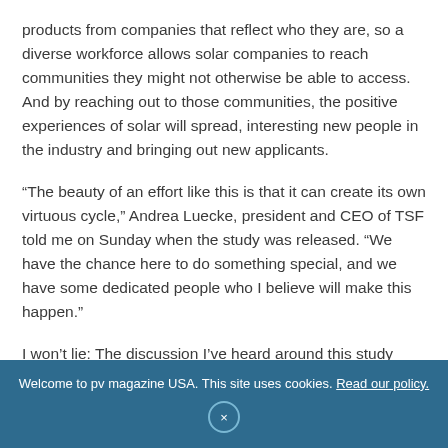products from companies that reflect who they are, so a diverse workforce allows solar companies to reach communities they might not otherwise be able to access. And by reaching out to those communities, the positive experiences of solar will spread, interesting new people in the industry and bringing out new applicants.
“The beauty of an effort like this is that it can create its own virtuous cycle,” Andrea Luecke, president and CEO of TSF told me on Sunday when the study was released. “We have the chance here to do something special, and we have some dedicated people who I believe will make this happen.”
I won’t lie: The discussion I’ve heard around this study
Welcome to pv magazine USA. This site uses cookies. Read our policy.